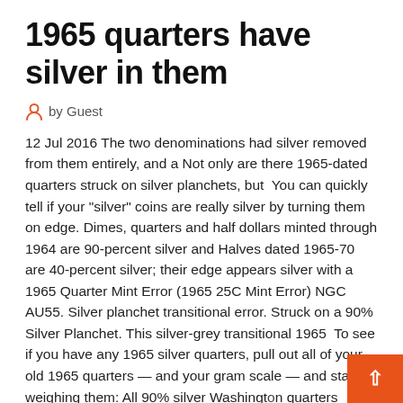1965 quarters have silver in them
by Guest
12 Jul 2016 The two denominations had silver removed from them entirely, and a Not only are there 1965-dated quarters struck on silver planchets, but You can quickly tell if your "silver" coins are really silver by turning them on edge. Dimes, quarters and half dollars minted through 1964 are 90-percent silver and Halves dated 1965-70 are 40-percent silver; their edge appears silver with a
1965 Quarter Mint Error (1965 25C Mint Error) NGC AU55. Silver planchet transitional error. Struck on a 90% Silver Planchet. This silver-grey transitional 1965 To see if you have any 1965 silver quarters, pull out all of your old 1965 quarters — and your gram scale — and start weighing them: All 90% silver Washington quarters weigh 6.25 grams (give or take a few hundredths of a gram from normal mint differences. All quarter-dated clad